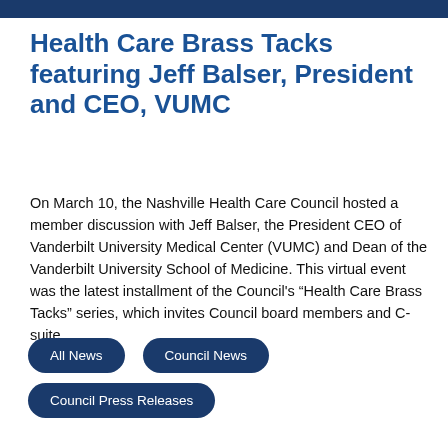Health Care Brass Tacks featuring Jeff Balser, President and CEO, VUMC
On March 10, the Nashville Health Care Council hosted a member discussion with Jeff Balser, the President CEO of Vanderbilt University Medical Center (VUMC) and Dean of the Vanderbilt University School of Medicine. This virtual event was the latest installment of the Council's “Health Care Brass Tacks” series, which invites Council board members and C-suite…
All News
Council News
Council Press Releases